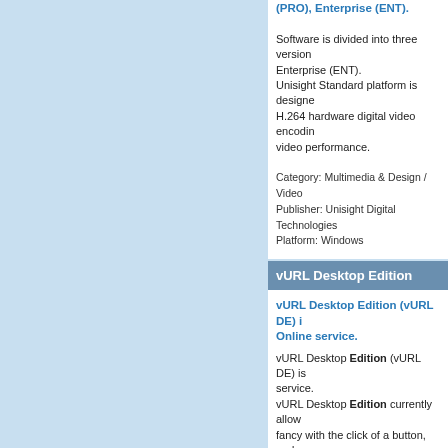(PRO), Enterprise (ENT).
Software is divided into three versions Enterprise (ENT). Unisight Standard platform is designed H.264 hardware digital video encoding video performance.
Category: Multimedia & Design / Video
Publisher: Unisight Digital Technologies
Platform: Windows
vURL Desktop Edition
vURL Desktop Edition (vURL DE) is Online service.
vURL Desktop Edition (vURL DE) is service.
vURL Desktop Edition currently allows fancy with the click of a button, and a
Category: Internet / Misc. Plugins
Publisher: Ur I.T. Mate Group, License:
Platform: Windows
Firefox Community Edition St
A Community Edition of the popular Standard is an extremely easy browser
A Community Edition of the popular Standard is an extremely easy brows